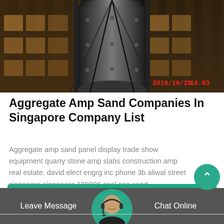[Figure (photo): Industrial machinery photo showing a large cylindrical mill or ball mill being installed on scaffolding at an industrial site. Timestamp 2016/10/29 14:03 shown in red.]
Aggregate Amp Sand Companies In Singapore Company List
Aggregate amp sand panel display trade show equipment quarry stone amp slabs construction amp real estate. david elect engrg inc phone 3b aliwal street singapore singapore 199896 coal gas sand
Leave Message   Chat Online